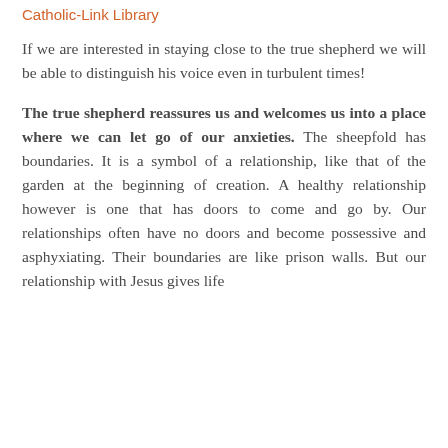Catholic-Link Library
If we are interested in staying close to the true shepherd we will be able to distinguish his voice even in turbulent times!
The true shepherd reassures us and welcomes us into a place where we can let go of our anxieties. The sheepfold has boundaries. It is a symbol of a relationship, like that of the garden at the beginning of creation. A healthy relationship however is one that has doors to come and go by. Our relationships often have no doors and become possessive and asphyxiating. Their boundaries are like prison walls. But our relationship with Jesus gives life